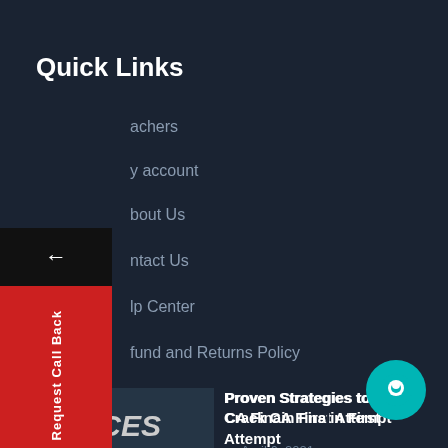Quick Links
achers
y account
bout Us
ntact Us
lp Center
fund and Returns Policy
g
[Figure (screenshot): Success text image with handwriting style text on dark background]
Proven Strategies to Crack CA Final in First Attempt
— April 6, 2021